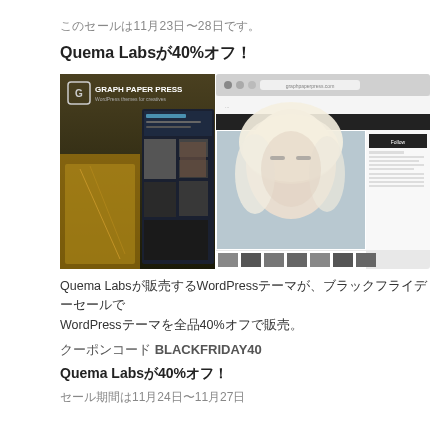このセールは11月23日〜28日です。
Quema Labsが40%オフ！
[Figure (screenshot): Graph Paper Press WordPress themes promotional screenshot showing multiple theme layouts including a photography portfolio theme with a blonde woman model]
Quema Labsが販売するWordPressテーマが、ブラックフライデーセールでWordPressテーマを全品40%オフで販売。
クーポンコード BLACKFRIDAY40
Quema Labsが40%オフ！
セール期間は11月24日〜11月27日